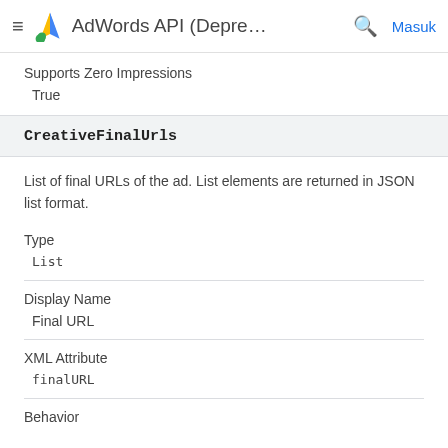AdWords API (Depre… | Masuk
Supports Zero Impressions
True
CreativeFinalUrls
List of final URLs of the ad. List elements are returned in JSON list format.
Type
List
Display Name
Final URL
XML Attribute
finalURL
Behavior